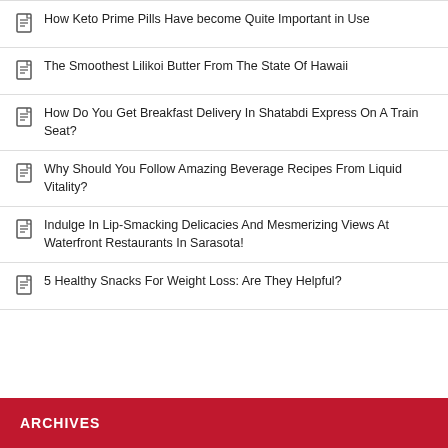How Keto Prime Pills Have become Quite Important in Use
The Smoothest Lilikoi Butter From The State Of Hawaii
How Do You Get Breakfast Delivery In Shatabdi Express On A Train Seat?
Why Should You Follow Amazing Beverage Recipes From Liquid Vitality?
Indulge In Lip-Smacking Delicacies And Mesmerizing Views At Waterfront Restaurants In Sarasota!
5 Healthy Snacks For Weight Loss: Are They Helpful?
ARCHIVES